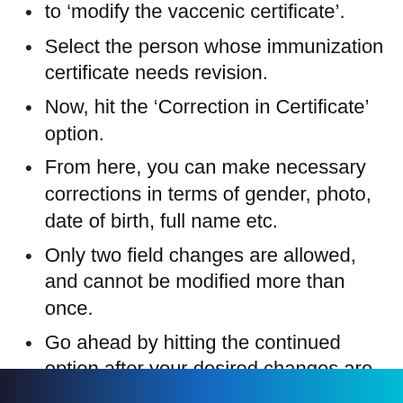to ‘modify the vaccenic certificate’.
Select the person whose immunization certificate needs revision.
Now, hit the ‘Correction in Certificate’ option.
From here, you can make necessary corrections in terms of gender, photo, date of birth, full name etc.
Only two field changes are allowed, and cannot be modified more than once.
Go ahead by hitting the continued option after your desired changes are made.
Check all corrections made again, then hit the ‘Submit’ button from the portal.